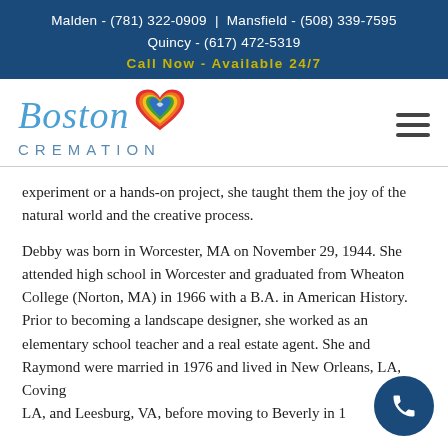Malden - (781) 322-0909 | Mansfield - (508) 339-7595
Quincy - (617) 472-5319
Call Now - Available 24/7
[Figure (logo): Boston Cremation logo with colorful heart icon, script 'Boston' text in blue and 'CREMATION' in spaced letters]
experiment or a hands-on project, she taught them the joy of the natural world and the creative process.
Debby was born in Worcester, MA on November 29, 1944. She attended high school in Worcester and graduated from Wheaton College (Norton, MA) in 1966 with a B.A. in American History. Prior to becoming a landscape designer, she worked as an elementary school teacher and a real estate agent. She and Raymond were married in 1976 and lived in New Orleans, LA, Covington, LA, and Leesburg, VA, before moving to Beverly in 1